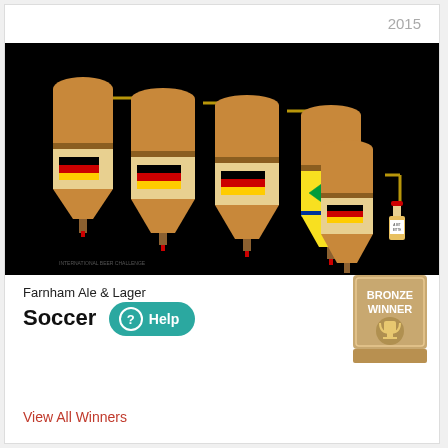2015
[Figure (illustration): Black background illustration showing five brewing/fermentation tanks connected by pipes. Tanks have German flags on them, with one tank showing a Brazilian flag, and a small red/gold bottle at far right labeled 'A BIT BITTER'.]
Farnham Ale & Lager
Soccer
[Figure (other): Bronze Winner badge/medallion with text BRONZE WINNER and trophy icon]
View All Winners